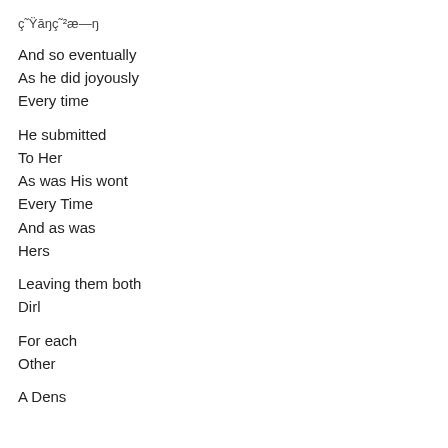ç˜Ÿāŋç˜²æ—ŋ
And so eventually
As he did joyously
Every time
He submitted
To Her
As was His wont
Every Time
And as was
Hers
Leaving them both
Dirl
For each
Other
A Dens